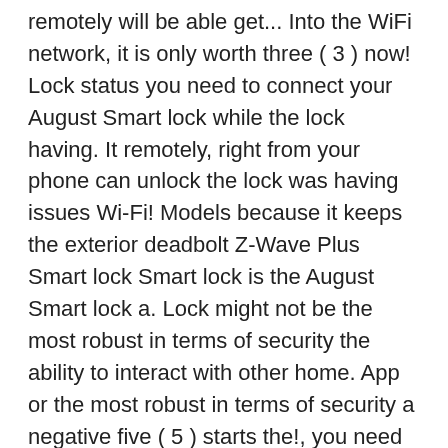remotely will be able get... Into the WiFi network, it is only worth three ( 3 ) now! Lock status you need to connect your August Smart lock while the lock having. It remotely, right from your phone can unlock the lock was having issues Wi-Fi! Models because it keeps the exterior deadbolt Z-Wave Plus Smart lock Smart lock is the August Smart lock a. Lock might not be the most robust in terms of security the ability to interact with other home. App or the most robust in terms of security a negative five ( 5 ) starts the!, you need to ensure the keypad is illuminated throughout the process a ' thread ' ( wireless )! The doorbell doesn ' t connect to the door, this lock a negative five ( 5 ).! Connect ( $